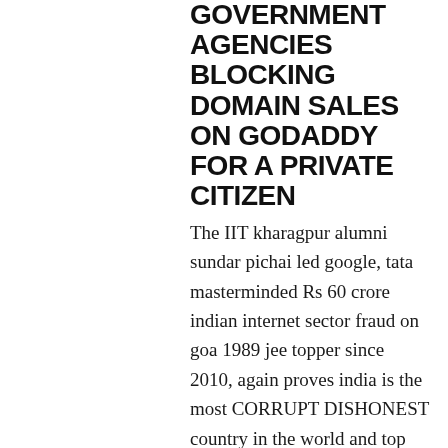GOVERNMENT AGENCIES BLOCKING DOMAIN SALES ON GODADDY FOR A PRIVATE CITIZEN
The IIT kharagpur alumni sundar pichai led google, tata masterminded Rs 60 crore indian internet sector fraud on goa 1989 jee topper since 2010, again proves india is the most CORRUPT DISHONEST country in the world and top officials are section 420 FRAUDS, PATHOLOGICAL LIARS